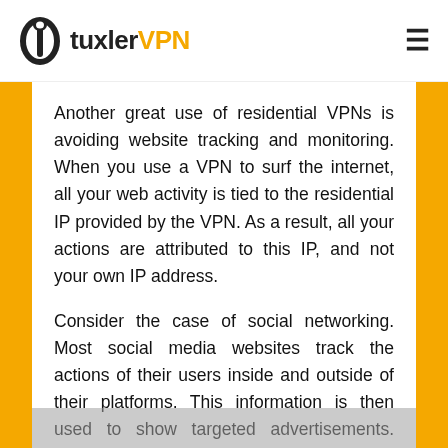tuxlerVPN
Another great use of residential VPNs is avoiding website tracking and monitoring. When you use a VPN to surf the internet, all your web activity is tied to the residential IP provided by the VPN. As a result, all your actions are attributed to this IP, and not your own IP address.
Consider the case of social networking. Most social media websites track the actions of their users inside and outside of their platforms. This information is then used to show targeted advertisements. We’re sure you have experienced this when using social media sites. While scrolling through a feed, you see a video ad for a brand that you recently interacted with or searched for online